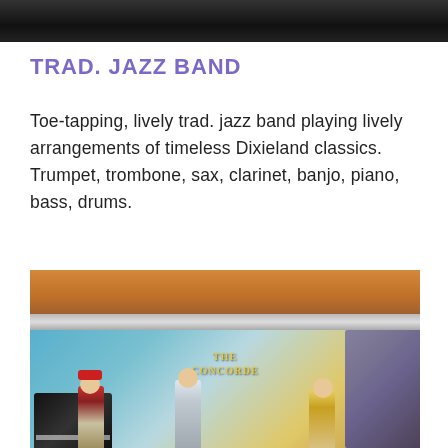[Figure (photo): Dark performance photo at the top of the page, showing a band or performers in low-light conditions]
TRAD. JAZZ BAND
Toe-tapping, lively trad. jazz band playing lively arrangements of timeless Dixieland classics. Trumpet, trombone, sax, clarinet, banjo, piano, bass, drums.
[Figure (photo): Colorful illustrated/painted style photo of a jazz band performing on stage at The Concorde venue, with musicians playing piano and guitars under warm stage lighting with abstract colorful background]